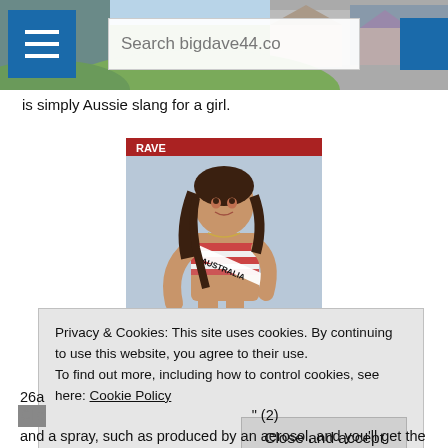bigdave44.com — Search bigdave44.co
is simply Aussie slang for a girl.
[Figure (photo): Woman wearing a Miss Australia sash and bikini top, posing at what appears to be a pageant event. Red and white striped bikini top with white AUSTRALIA sash across torso.]
Privacy & Cookies: This site uses cookies. By continuing to use this website, you agree to their use.
To find out more, including how to control cookies, see here: Cookie Policy

Close and accept
26a
Clic                                              " (2)
and a spray, such as produced by an aerosol, and you'll get the chap you may need to visit if you have a cold.